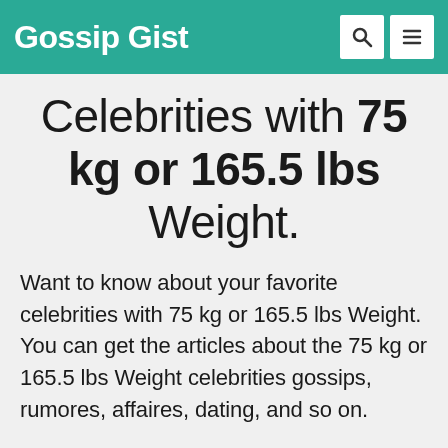Gossip Gist
Celebrities with 75 kg or 165.5 lbs Weight.
Want to know about your favorite celebrities with 75 kg or 165.5 lbs Weight. You can get the articles about the 75 kg or 165.5 lbs Weight celebrities gossips, rumores, affaires, dating, and so on.